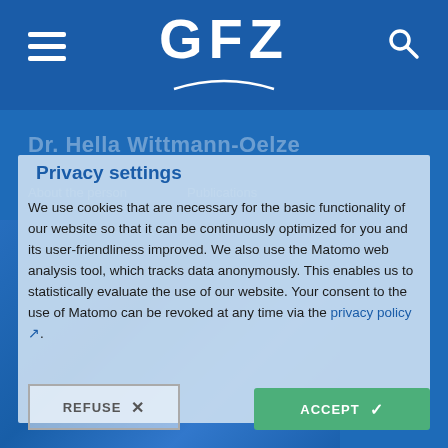GFZ
Dr. Hella Wittmann-Oelze
About the person   Publications
Privacy settings
We use cookies that are necessary for the basic functionality of our website so that it can be continuously optimized for you and its user-friendliness improved. We also use the Matomo web analysis tool, which tracks data anonymously. This enables us to statistically evaluate the use of our website. Your consent to the use of Matomo can be revoked at any time via the privacy policy ↗.
REFUSE ✕
ACCEPT ✓